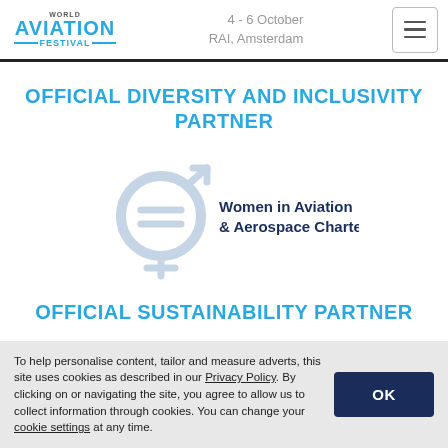WORLD AVIATION FESTIVAL | 4 - 6 October RAI, Amsterdam
OFFICIAL DIVERSITY AND INCLUSIVITY PARTNER
[Figure (logo): Women in Aviation & Aerospace Charter logo — a combined male/female/equality gender symbol in light blue/grey with text 'Women in Aviation & Aerospace Charter' in dark navy.]
OFFICIAL SUSTAINABILITY PARTNER
To help personalise content, tailor and measure adverts, this site uses cookies as described in our Privacy Policy. By clicking on or navigating the site, you agree to allow us to collect information through cookies. You can change your cookie settings at any time.